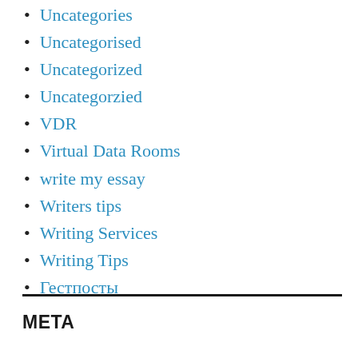Uncategories
Uncategorised
Uncategorized
Uncategorzied
VDR
Virtual Data Rooms
write my essay
Writers tips
Writing Services
Writing Tips
Гестпосты
META